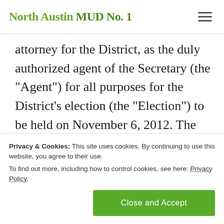North Austin MUD No. 1
attorney for the District, as the duly authorized agent of the Secretary (the “Agent”) for all purposes for the District’s election (the “Election”) to be held on November 6, 2012. The office of the Agent is located at Armbrust & Brown, PLLC, 100 Congress Avenue, ... number is (512) 435-2300. The Agent
Privacy & Cookies: This site uses cookies. By continuing to use this website, you agree to their use. To find out more, including how to control cookies, see here: Privacy Policy.
Close and Accept